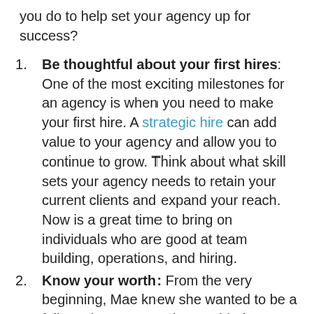you do to help set your agency up for success?
Be thoughtful about your first hires: One of the most exciting milestones for an agency is when you need to make your first hire. A strategic hire can add value to your agency and allow you to continue to grow. Think about what skill sets your agency needs to retain your current clients and expand your reach. Now is a great time to bring on individuals who are good at team building, operations, and hiring.
Know your worth: From the very beginning, Mae knew she wanted to be a full-service agency who provided a premium product. This meant charging a premium price. Don't be afraid to charge